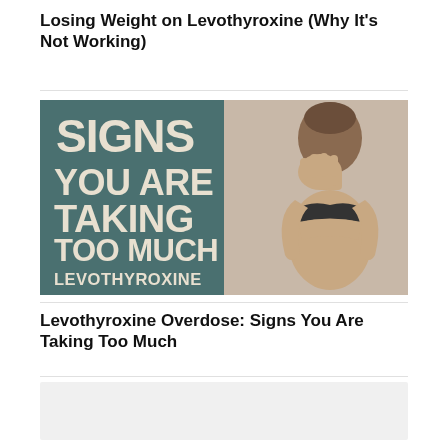Losing Weight on Levothyroxine (Why It's Not Working)
[Figure (infographic): Split image: left half has dark teal background with large white bold text reading 'SIGNS YOU ARE TAKING TOO MUCH LEVOTHYROXINE'; right half shows a woman with brown hair covering her face with her hands, wearing a black bra, against a light gray background.]
Levothyroxine Overdose: Signs You Are Taking Too Much